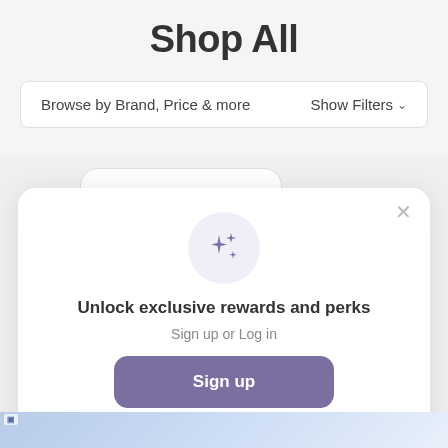Shop All
Browse by Brand, Price & more   Show Filters ˅
[Figure (screenshot): A modal dialog with a sparkle/stars icon in a light purple circle, headline 'Unlock exclusive rewards and perks', subtext 'Sign up or Log in', a purple 'Sign up' button, and a line 'Already have an account? Sign in'. A close X button is in the top right.]
[Figure (photo): Partial product images visible at the bottom of the page, showing colorful merchandise.]